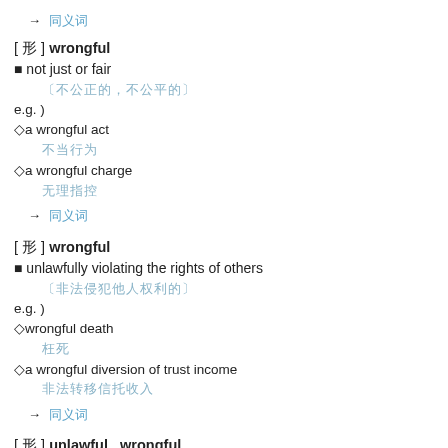→ 同义词
[ 形 ] wrongful
■ not just or fair
（不公正的，不公平的）
e.g. )
◇a wrongful act
不当行为
◇a wrongful charge
无理指控
→ 同义词
[ 形 ] wrongful
■ unlawfully violating the rights of others
（非法侵犯他人权利的）
e.g. )
◇wrongful death
枉死
◇a wrongful diversion of trust income
非法转移信托收入
→ 同义词
[ 形 ] unlawful , wrongful
■ having no legally established claim